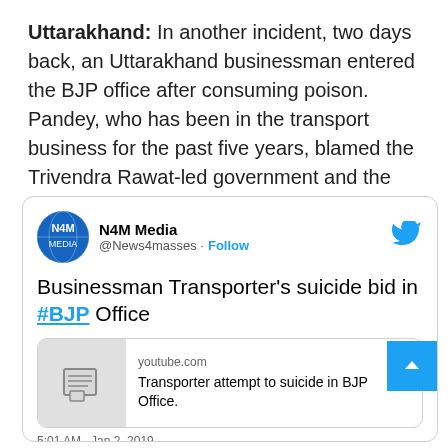Uttarakhand: In another incident, two days back, an Uttarakhand businessman entered the BJP office after consuming poison. Pandey, who has been in the transport business for the past five years, blamed the Trivendra Rawat-led government and the Centre for loss in business due to demonetisation and GST.
[Figure (screenshot): Embedded tweet from N4M Media (@News4masses) with Follow button and Twitter bird icon. Tweet text: 'Businessman Transporter's suicide bid in #BJP Office'. Includes a YouTube link preview card showing 'youtube.com' and text 'Transporter attempt to suicide in BJP Office.' Partial timestamp visible at bottom.]